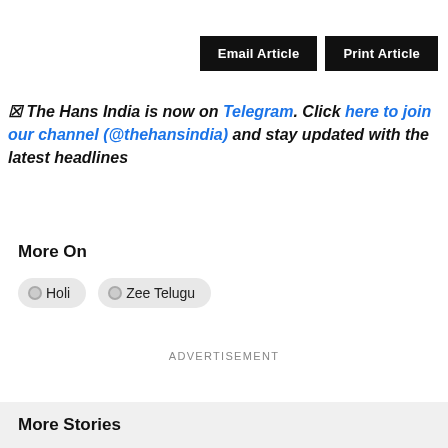Email Article
Print Article
☒ The Hans India is now on Telegram. Click here to join our channel (@thehansindia) and stay updated with the latest headlines
More On
Holi
Zee Telugu
ADVERTISEMENT
More Stories